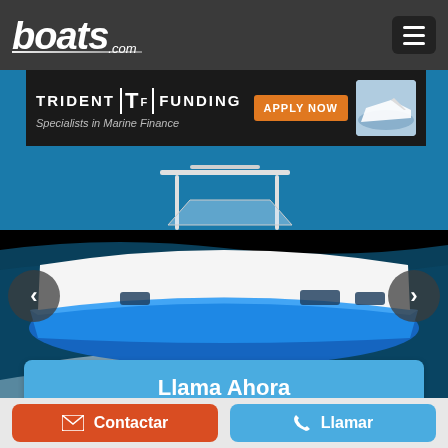boats.com
[Figure (screenshot): Trident Funding banner advertisement: 'TRIDENT TF FUNDING — Specialists in Marine Finance — APPLY NOW' with boat image on right]
[Figure (photo): White and blue motorboat speeding across water with wake, navigation arrows on left and right, '- de - imágenes' label overlay]
Llama Ahora
Contactar
Llamar